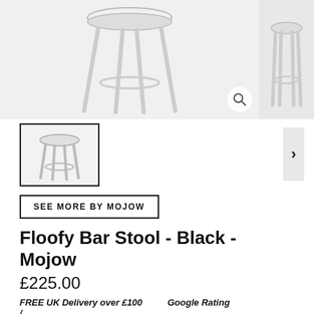[Figure (photo): Main product image of a Floofy Bar Stool with metal/chrome legs on white background]
[Figure (photo): Smaller side product image of bar stool, partially visible]
[Figure (photo): Thumbnail image of Floofy Bar Stool showing full stool from front]
SEE MORE BY MOJOW
Floofy Bar Stool - Black - Mojow
£225.00
FREE UK Delivery over £100 /
Google Rating